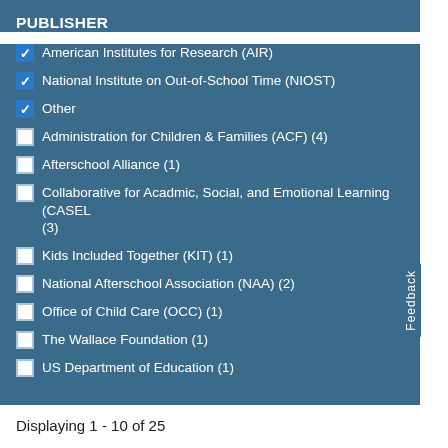PUBLISHER
American Institutes for Research (AIR) [checked]
National Institute on Out-of-School Time (NIOST) [checked]
Other [checked]
Administration for Children & Families (ACF) (4)
Afterschool Alliance (1)
Collaborative for Acadmic, Social, and Emotional Learning (CASEL (3)
Kids Included Together (KIT) (1)
National Afterschool Association (NAA) (2)
Office of Child Care (OCC) (1)
The Wallace Foundation (1)
US Department of Education (1)
Displaying 1 - 10 of 25
Search